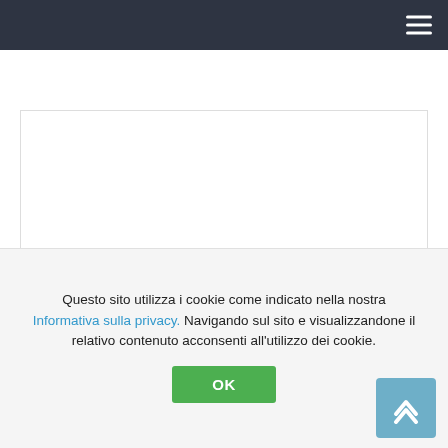Navigation bar with hamburger menu
[Figure (screenshot): White content area with border, representing a webpage main content region]
Questo sito utilizza i cookie come indicato nella nostra Informativa sulla privacy. Navigando sul sito e visualizzandone il relativo contenuto acconsenti all’utilizzo dei cookie.
OK